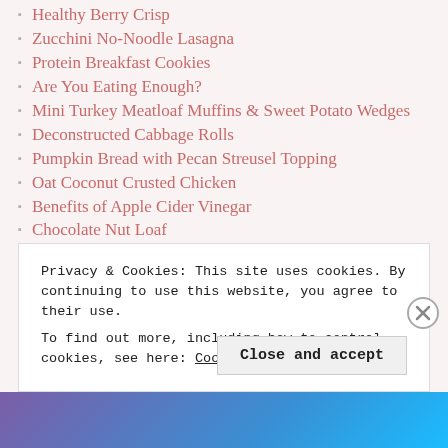Healthy Berry Crisp
Zucchini No-Noodle Lasagna
Protein Breakfast Cookies
Are You Eating Enough?
Mini Turkey Meatloaf Muffins & Sweet Potato Wedges
Deconstructed Cabbage Rolls
Pumpkin Bread with Pecan Streusel Topping
Oat Coconut Crusted Chicken
Benefits of Apple Cider Vinegar
Chocolate Nut Loaf
Kale, Parmesan & Currant Salad
Coconut Flour Protein Pancakes
Healthy Turkey Chili & Cornbread Muffins
Mixing it Up!
Pumpkin Pie Green Smoothie
Privacy & Cookies: This site uses cookies. By continuing to use this website, you agree to their use.
To find out more, including how to control cookies, see here: Cookie Policy